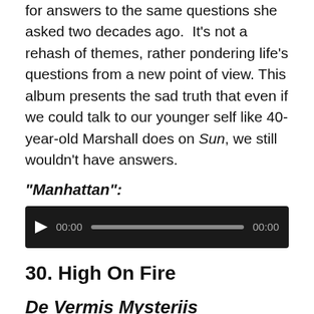for answers to the same questions she asked two decades ago. It's not a rehash of themes, rather pondering life's questions from a new point of view. This album presents the sad truth that even if we could talk to our younger self like 40-year-old Marshall does on Sun, we still wouldn't have answers.
“Manhattan”:
[Figure (other): Audio player widget with play button, time counter showing 00:00, a progress bar, and end time 00:00 on a dark background.]
30. High On Fire
De Vermis Mysteriis
[E1; 2012]